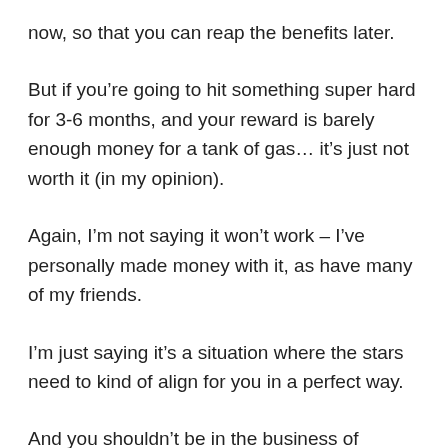now, so that you can reap the benefits later.
But if you're going to hit something super hard for 3-6 months, and your reward is barely enough money for a tank of gas... it's just not worth it (in my opinion).
Again, I'm not saying it won't work – I've personally made money with it, as have many of my friends.
I'm just saying it's a situation where the stars need to kind of align for you in a perfect way.
And you shouldn't be in the business of leaving your fate